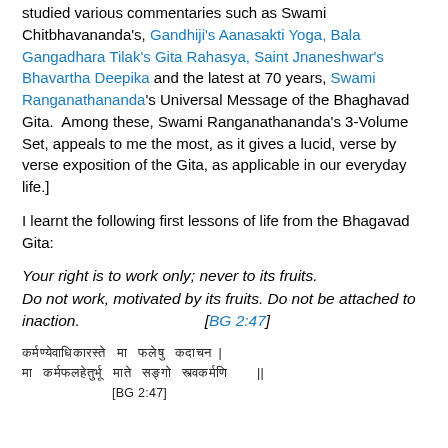studied various commentaries such as Swami Chitbhavananda's, Gandhiji's Aanasakti Yoga, Bala Gangadhara Tilak's Gita Rahasya, Saint Jnaneshwar's Bhavartha Deepika and the latest at 70 years, Swami Ranganathananda's Universal Message of the Bhaghavad Gita.  Among these, Swami Ranganathananda's 3-Volume Set, appeals to me the most, as it gives a lucid, verse by verse exposition of the Gita, as applicable in our everyday life.]
I learnt the following first lessons of life from the Bhagavad Gita:
Your right is to work only; never to its fruits. Do not work, motivated by its fruits. Do not be attached to inaction. [BG 2:47]
[Devanagari script verse] [BG 2:47]